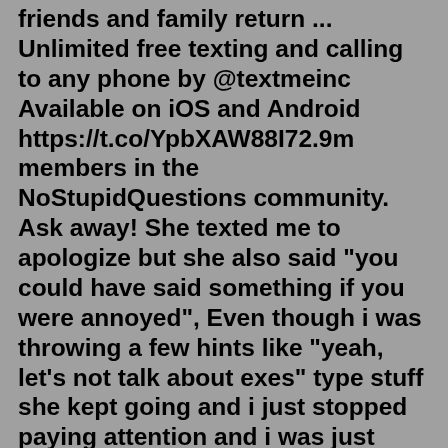friends and family return ... Unlimited free texting and calling to any phone by @textmeinc Available on iOS and Android https://t.co/YpbXAW88I72.9m members in the NoStupidQuestions community. Ask away! She texted me to apologize but she also said "you could have said something if you were annoyed", Even though i was throwing a few hints like "yeah, let's not talk about exes" type stuff she kept going and i just stopped paying attention and i was just drinking my beer/s and then left.Praise for Text Me When You Get Home “A memoir of female friendship issues a call to action for BFFs everywhere.” —The New York Times Book Review “Text Me has the thrills and laughs of a romantic comedy, but with an inverted message: ‘There just isn't only one love story in our lives,’ Schaefer writes. First, you're in a crisis. Crisis doesn't just mean thinking about ending your own life. It's any painful emotion and anytime you need support. So, you text us at 741741. Your opening message can say anything. Keywords like "HOME," "START," and "HELLO"